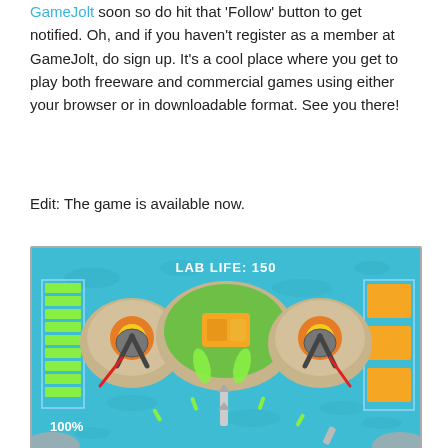GameJolt soon so do hit that 'Follow' button to get notified. Oh, and if you haven't register as a member at GameJolt, do sign up. It's a cool place where you get to play both freeware and commercial games using either your browser or in downloadable format. See you there!
Edit: The game is available now.
[Figure (screenshot): Game screenshot showing a top-down shooter/tower defense game with teal water background, islands with turrets, a central green island with an orange building, green health bar on left, orange squares on right, text 'LAB LIFE: 150' at top center, '100%' in bottom left, missiles and projectiles visible.]